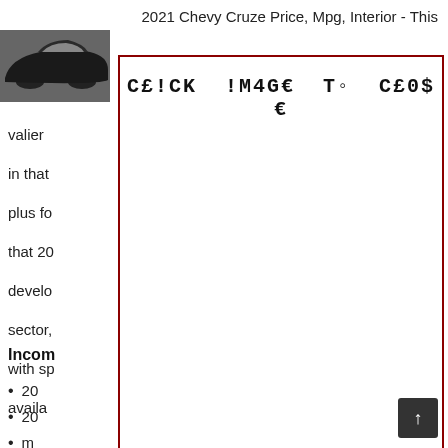2021 Chevy Cruze Price, Mpg, Interior - This
[Figure (photo): Partial view of a dark-colored car (Chevy Cruze) in the top-left corner]
[Figure (screenshot): Lightbox overlay with text 'C£!CK !M4G€ To C£0$€' in monospace bold font, dark red border, white background]
valier in that 2008 plus fo d for that 20 develo n sector, ed with sp ot availa
Incom
20
20
m
th
Hellcat 2023 (5)